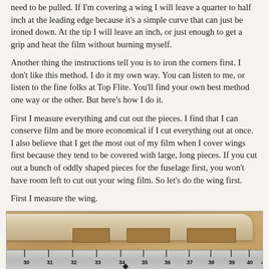need to be pulled. If I'm covering a wing I will leave a quarter to half inch at the leading edge because it's a simple curve that can just be ironed down. At the tip I will leave an inch, or just enough to get a grip and heat the film without burning myself.
Another thing the instructions tell you is to iron the corners first. I don't like this method. I do it my own way. You can listen to me, or listen to the fine folks at Top Flite. You'll find your own best method one way or the other. But here's how I do it.
First I measure everything and cut out the pieces. I find that I can conserve film and be more economical if I cut everything out at once. I also believe that I get the most out of my film when I cover wings first because they tend to be covered with large, long pieces. If you cut out a bunch of oddly shaped pieces for the fuselage first, you won't have room left to cut out your wing film. So let's do the wing first.
First I measure the wing.
[Figure (photo): Photograph of a model airplane wing on a workbench with a ruler measuring it. The wing appears to be made of balsa wood with rectangular cutouts visible. A metal ruler runs along the bottom showing measurements from approximately 30 to 41 inches. The bottom edge shows partial text 'J4B'.]